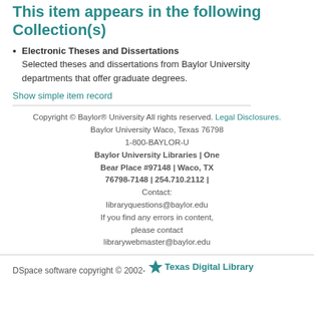This item appears in the following Collection(s)
Electronic Theses and Dissertations
Selected theses and dissertations from Baylor University departments that offer graduate degrees.
Show simple item record
Copyright © Baylor® University All rights reserved. Legal Disclosures. Baylor University Waco, Texas 76798 1-800-BAYLOR-U Baylor University Libraries | One Bear Place #97148 | Waco, TX 76798-7148 | 254.710.2112 | Contact: libraryquestions@baylor.edu If you find any errors in content, please contact librarywebmaster@baylor.edu
DSpace software copyright © 2002- Texas Digital Library